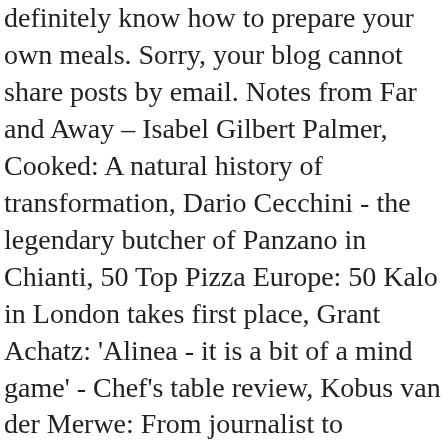definitely know how to prepare your own meals. Sorry, your blog cannot share posts by email. Notes from Far and Away – Isabel Gilbert Palmer, Cooked: A natural history of transformation, Dario Cecchini - the legendary butcher of Panzano in Chianti, 50 Top Pizza Europe: 50 Kalo in London takes first place, Grant Achatz: 'Alinea - it is a bit of a mind game' - Chef's table review, Kobus van der Merwe: From journalist to Restaurant of the Year winner, Book review: Eat a peach - a memoir by David Chang, Bo Bech's third book: The relation between us, 10 Chianti Classico producers you should know, Snert Soup - a new initiative by Joris Bijdendijk and Brandt & Levie, Get ready for disruption in the wine industry: How Gary Vaynerchuk and Empathy Wines plan to cut the middlemen and sell the best $20 wine, Two Sicilian recipe books to make your mouth water. Are you trying to eat healthier? All of these expose learners to a wide variety of experiences and opportunities to acquire work skills, work values and expertise which will help learners in choosing an occupation or career and/or eventually